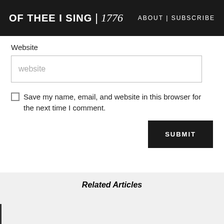OF THEE I SING | 1776   ABOUT | SUBSCRIBE
Website
website
Save my name, email, and website in this browser for the next time I comment.
SUBMIT
Related Articles
AUGUST 19, 2022
Tuesday's Primary: Liz Cheney Won Big!